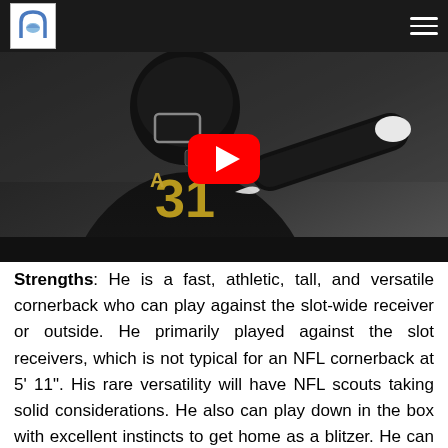[Navigation bar with logo and menu icon]
[Figure (photo): UCF football player wearing black jersey number 31 with BLM patch, pointing finger, with a YouTube play button overlay in the center of the image]
Strengths: He is a fast, athletic, tall, and versatile cornerback who can play against the slot-wide receiver or outside. He primarily played against the slot receivers, which is not typical for an NFL cornerback at 5' 11". His rare versatility will have NFL scouts taking solid considerations. He also can play down in the box with excellent instincts to get home as a blitzer. He can shed blocks and navigate through traffic and make tackles with a bit of a thump. He plays with physicality and torments slot receivers due to his speed and ability to